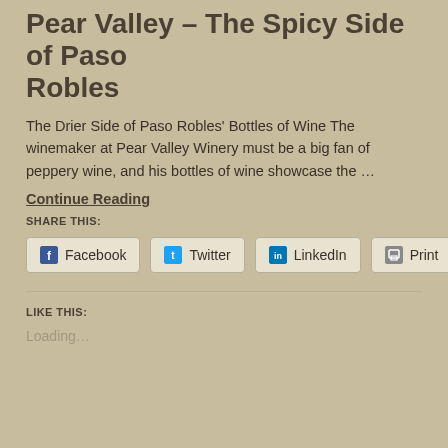Pear Valley – The Spicy Side of Paso Robles
The Drier Side of Paso Robles' Bottles of Wine The winemaker at Pear Valley Winery must be a big fan of peppery wine, and his bottles of wine showcase the …
Continue Reading
SHARE THIS:
Facebook  Twitter  LinkedIn  Print
LIKE THIS:
Loading…